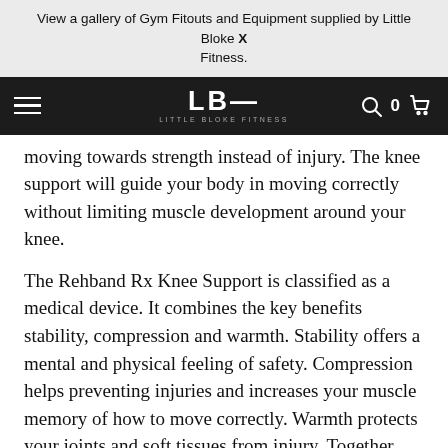View a gallery of Gym Fitouts and Equipment supplied by Little Bloke X Fitness.
[Figure (screenshot): Little Bloke Fitness (LBF) navigation bar with hamburger menu, LBF logo, search icon, cart count 0, and cart icon on dark background]
moving towards strength instead of injury. The knee support will guide your body in moving correctly without limiting muscle development around your knee.
The Rehband Rx Knee Support is classified as a medical device. It combines the key benefits stability, compression and warmth. Stability offers a mental and physical feeling of safety. Compression helps preventing injuries and increases your muscle memory of how to move correctly. Warmth protects your joints and soft tissues from injury. Together these elements improve your performance capability.
Take your training to the next level with Rehband Rx Knee Support 5mm.